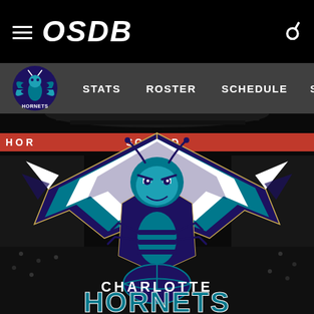OSDB
[Figure (logo): Charlotte Hornets team navigation logo (small, teal hornet)]
STATS   ROSTER   SCHEDULE   STANDINGS
[Figure (photo): NBA arena background with scoreboard showing HOR...SCORED]
[Figure (logo): Charlotte Hornets large official logo with teal/purple hornet mascot and text CHARLOTTE HORNETS]